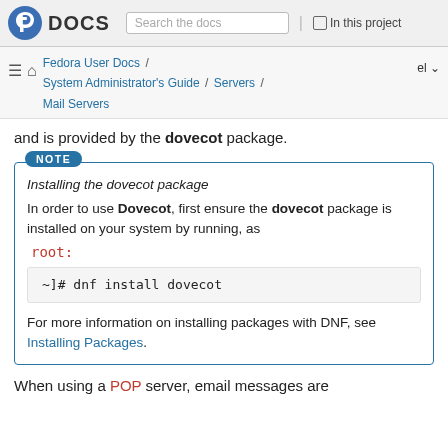Fedora DOCS | Search the docs | In this project
Fedora User Docs / System Administrator's Guide / Servers / Mail Servers | el
and is provided by the dovecot package.
NOTE
Installing the dovecot package
In order to use Dovecot, first ensure the dovecot package is installed on your system by running, as root:
~]# dnf install dovecot
For more information on installing packages with DNF, see Installing Packages.
When using a POP server, email messages are